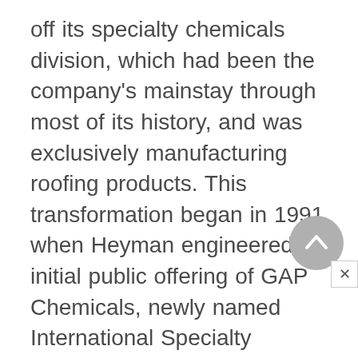off its specialty chemicals division, which had been the company's mainstay through most of its history, and was exclusively manufacturing roofing products. This transformation began in 1991 when Heyman engineered an initial public offering of GAP Chemicals, newly named International Specialty Products, Inc. (ISP). Heyman used the $285 million generated from the offering to pay down company debt, which was still high as the result of the 1989